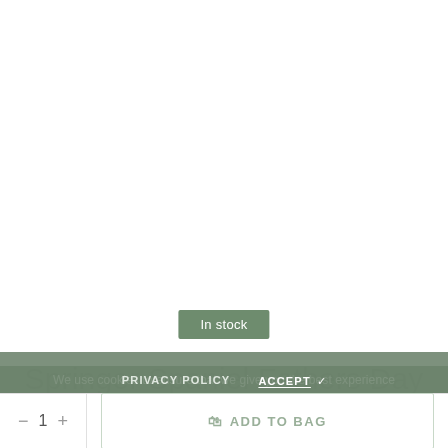[Figure (photo): White product image area for a mug (not visible in this crop)]
In stock
Springer Spaniel Fathers Day Mug
We use cookies to ensure that we give you the best experience and relevant information on our website. For more information on how we use cookies, please visit our privacy policy
PRIVACY POLICY   ACCEPT ✓
- 1 + ADD TO BAG